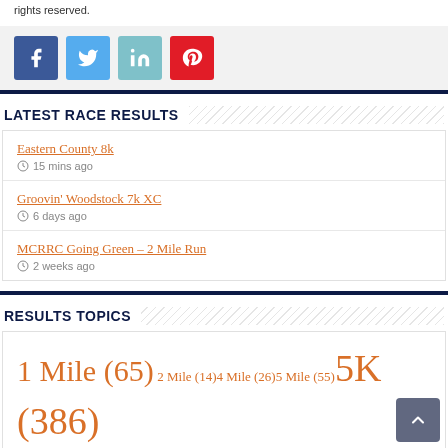rights reserved.
[Figure (other): Social media share buttons: Facebook (blue), Twitter (light blue), LinkedIn (teal), Pinterest (red)]
LATEST RACE RESULTS
Eastern County 8k — 15 mins ago
Groovin' Woodstock 7k XC — 6 days ago
MCRRC Going Green – 2 Mile Run — 2 weeks ago
RESULTS TOPICS
1 Mile (65) 2 Mile (14) 4 Mile (26) 5 Mile (55) 5K (386) 8K (78) 10K (124)